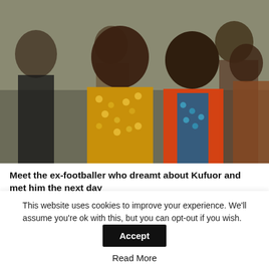[Figure (photo): Group photo of several men, two in the foreground — one older man wearing a patterned African print shirt and one younger man in an orange and blue patterned jacket, both smiling. Several other men visible in the background.]
Meet the ex-footballer who dreamt about Kufuor and met him the next day
Djfly • Aug 13, 2022  0
Never in the wildest dreams of Richard Ofei did he think of meeting former president John Agyekum Kufuor whiles…
This website uses cookies to improve your experience. We'll assume you're ok with this, but you can opt-out if you wish.
Accept
Read More